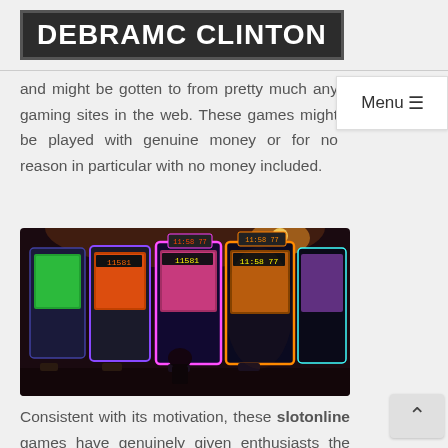DEBRAMC CLINTON
and might be gotten to from pretty much any gaming sites in the web. These games might be played with genuine money or for no reason in particular with no money included.
[Figure (photo): Interior of a casino showing multiple colorful slot machines with neon lighting, players visible in the background, dark ambiance with warm accent lighting.]
Consistent with its motivation, these slotonline games have genuinely given enthusiasts the fervor and